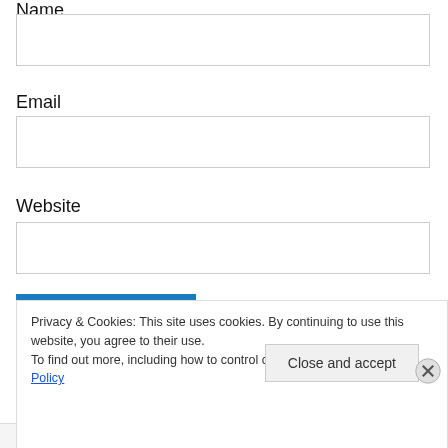Name
[Figure (other): Empty text input field for Name]
Email
[Figure (other): Empty text input field for Email]
Website
[Figure (other): Empty text input field for Website]
[Figure (other): Blue 'Post Comment' button]
Privacy & Cookies: This site uses cookies. By continuing to use this website, you agree to their use.
To find out more, including how to control cookies, see here: Cookie Policy
[Figure (other): Close (X) icon button for cookie banner]
Close and accept